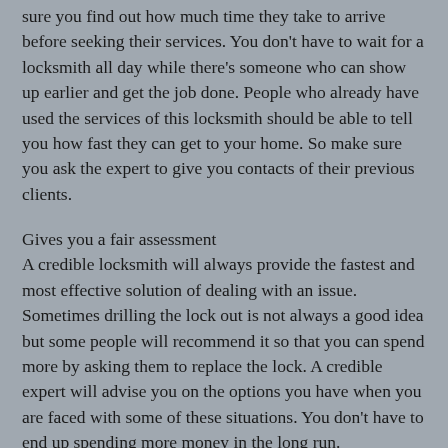sure you find out how much time they take to arrive before seeking their services. You don't have to wait for a locksmith all day while there's someone who can show up earlier and get the job done. People who already have used the services of this locksmith should be able to tell you how fast they can get to your home. So make sure you ask the expert to give you contacts of their previous clients.
Gives you a fair assessment
A credible locksmith will always provide the fastest and most effective solution of dealing with an issue. Sometimes drilling the lock out is not always a good idea but some people will recommend it so that you can spend more by asking them to replace the lock. A credible expert will advise you on the options you have when you are faced with some of these situations. You don't have to end up spending more money in the long run.
Has adequate insurance
Locksmiths should have insurance to protect them and their clients in case something goes wrong on the job. Liability insurance basically covers most damages that may occur when the locksmith is working in your home. Whether something gets broken in your